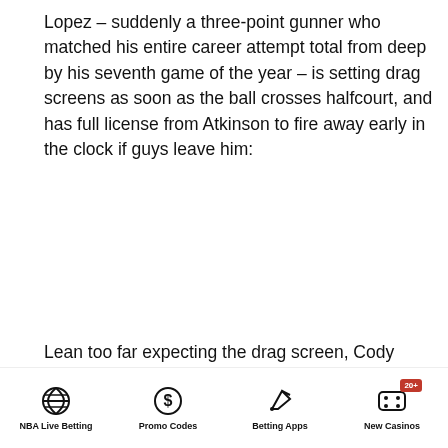Lopez – suddenly a three-point gunner who matched his entire career attempt total from deep by his seventh game of the year – is setting drag screens as soon as the ball crosses halfcourt, and has full license from Atkinson to fire away early in the clock if guys leave him:
Lean too far expecting the drag screen, Cody Zeller? No matter, Lopez just won't bother to set it.
NBA Live Betting | Promo Codes | Betting Apps | New Casinos 20+